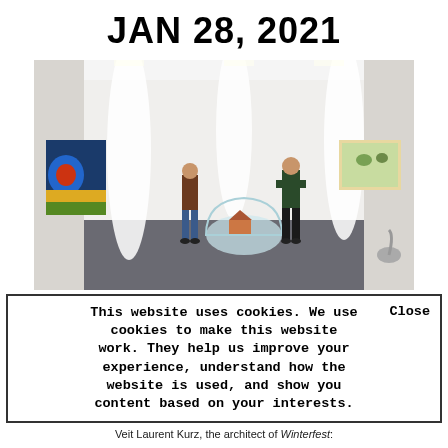JAN 28, 2021
[Figure (photo): Art gallery interior with two people standing, one near a colorful abstract painting on the left wall, another in the center-right. A glass dome sculpture sits on the floor. White fabric draped from ceiling. A framed painting on the right wall.]
This website uses cookies. We use cookies to make this website work. They help us improve your experience, understand how the website is used, and show you content based on your interests.   Close
Veit Laurent Kurz, the architect of Winterfest: